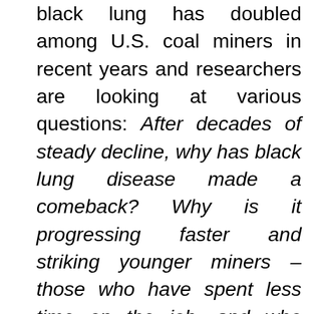black lung has doubled among U.S. coal miners in recent years and researchers are looking at various questions: After decades of steady decline, why has black lung disease made a comeback? Why is it progressing faster and striking younger miners – those who have spent less time on the job, and who never worked in the bad old days before the federal law took effect? And why is the spike limited to a few geographic hot spots? There are several theories posed, but no answers.